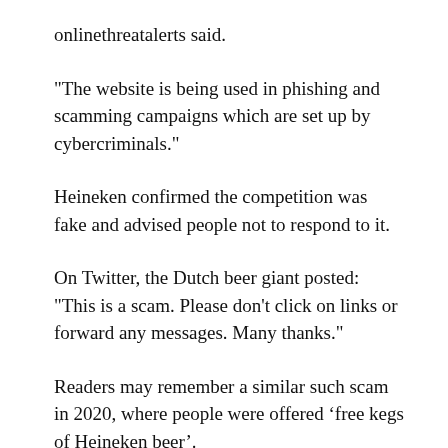onlinethreatalerts said.
"The website is being used in phishing and scamming campaigns which are set up by cybercriminals."
Heineken confirmed the competition was fake and advised people not to respond to it.
On Twitter, the Dutch beer giant posted: "This is a scam. Please don't click on links or forward any messages. Many thanks."
Readers may remember a similar such scam in 2020, where people were offered ‘free kegs of Heineken beer’.
The company then had to issue a statement warning